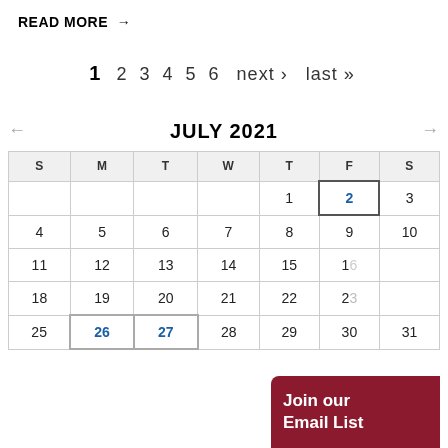READ MORE →
1 2 3 4 5 6 next › last »
[Figure (other): Calendar for July 2021 with navigation arrows, day grid, and a 'Join our Email List' overlay box.]
Join our Email List